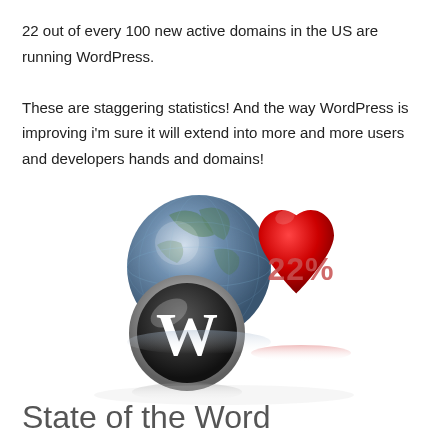22 out of every 100 new active domains in the US are running WordPress. These are staggering statistics! And the way WordPress is improving i'm sure it will extend into more and more users and developers hands and domains!
[Figure (illustration): Illustration showing a 3D globe (blue/grey Earth), a red heart with '22%' text, and a WordPress logo coin/medallion in front, all on a white background with reflections.]
State of the Word